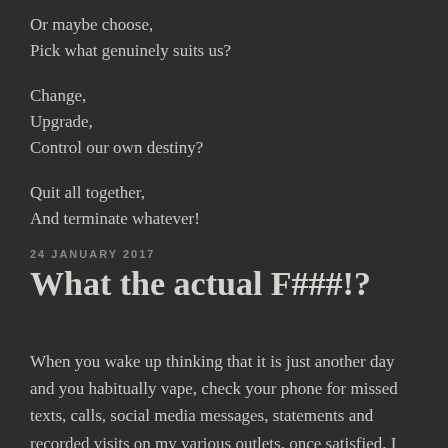Or maybe choose,
Pick what genuinely suits us?
Change,
Upgrade,
Control our own destiny?
Quit all together,
And terminate whatever!
24 JANUARY 2017
What the actual F###!?
When you wake up thinking that it is just another day and you habitually vape, check your phone for missed texts, calls, social media messages, statements and recorded visits on my various outlets, once satisfied, I usually take